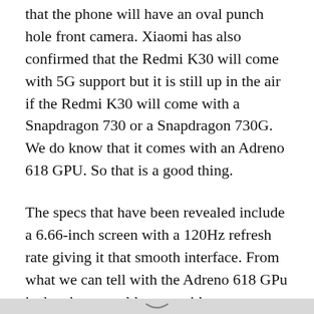that the phone will have an oval punch hole front camera. Xiaomi has also confirmed that the Redmi K30 will come with 5G support but it is still up in the air if the Redmi K30 will come with a Snapdragon 730 or a Snapdragon 730G. We do know that it comes with an Adreno 618 GPU. So that is a good thing.
The specs that have been revealed include a 6.66-inch screen with a 120Hz refresh rate giving it that smooth interface. From what we can tell with the Adreno 618 GPu is the phone could come with a Snapdragon 800, just like the Redmi K20 Pro. Further confirmation has also revealed that the phone will run MIUI 11 at launch. This was confirmed by Xiaomi CEO Lei Jun.  As of now, there are no official dates for the release of the Redmi K30 but we